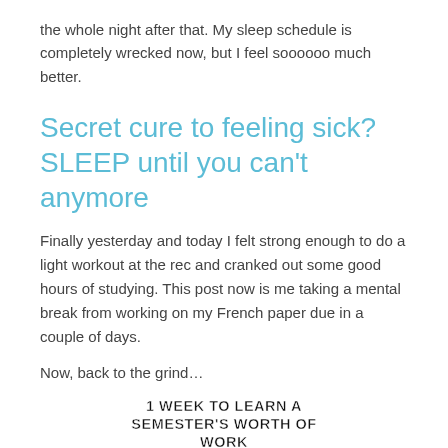the whole night after that. My sleep schedule is completely wrecked now, but I feel soooooo much better.
Secret cure to feeling sick? SLEEP until you can't anymore
Finally yesterday and today I felt strong enough to do a light workout at the rec and cranked out some good hours of studying. This post now is me taking a mental break from working on my French paper due in a couple of days.
Now, back to the grind…
[Figure (illustration): Meme image with bold black text reading '1 WEEK TO LEARN A SEMESTER'S WORTH OF WORK' above a cartoon skeptical/tired face (rage comic style face) with droopy eyes and a smirk.]